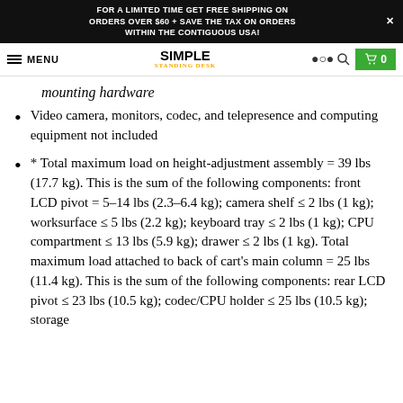FOR A LIMITED TIME GET FREE SHIPPING ON ORDERS OVER $60 + SAVE THE TAX ON ORDERS WITHIN THE CONTIGUOUS USA!
MENU | SIMPLE STANDING DESK | 🔍 | 🛒 0
mounting hardware
Video camera, monitors, codec, and telepresence and computing equipment not included
* Total maximum load on height-adjustment assembly = 39 lbs (17.7 kg). This is the sum of the following components: front LCD pivot = 5–14 lbs (2.3–6.4 kg); camera shelf ≤ 2 lbs (1 kg); worksurface ≤ 5 lbs (2.2 kg); keyboard tray ≤ 2 lbs (1 kg); CPU compartment ≤ 13 lbs (5.9 kg); drawer ≤ 2 lbs (1 kg). Total maximum load attached to back of cart's main column = 25 lbs (11.4 kg). This is the sum of the following components: rear LCD pivot ≤ 23 lbs (10.5 kg); codec/CPU holder ≤ 25 lbs (10.5 kg); storage